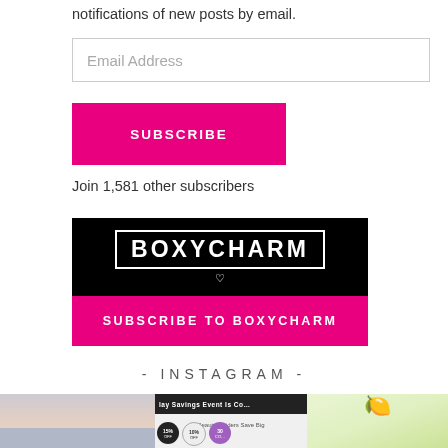notifications of new posts by email.
Email Address
SUBSCRIBE
Join 1,581 other subscribers
[Figure (illustration): BOXYCHARM subscription banner: black top with BOXYCHARM logo in white bordered box with heart, pink bottom with text SUBSCRIBE TO BOXYCHARM]
- INSTAGRAM -
[Figure (photo): Three Instagram photo thumbnails side by side showing beauty products, a holiday savings event with discount circles, and lemons/produce]
lay Savings Event Is Co
Beauty Insiders Save Big
15% OFF  10% OFF  30